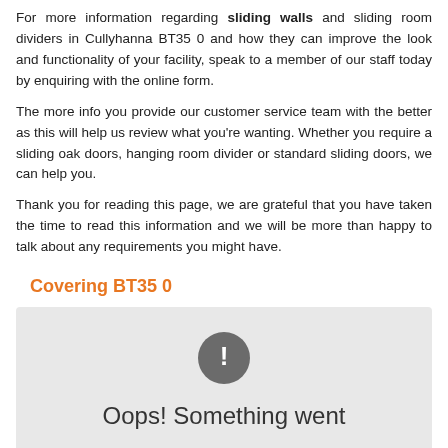For more information regarding sliding walls and sliding room dividers in Cullyhanna BT35 0 and how they can improve the look and functionality of your facility, speak to a member of our staff today by enquiring with the online form.
The more info you provide our customer service team with the better as this will help us review what you're wanting. Whether you require a sliding oak doors, hanging room divider or standard sliding doors, we can help you.
Thank you for reading this page, we are grateful that you have taken the time to read this information and we will be more than happy to talk about any requirements you might have.
Covering BT35 0
[Figure (other): Embedded map widget showing an error state with a grey circle exclamation icon and text 'Oops! Something went' (cut off)]